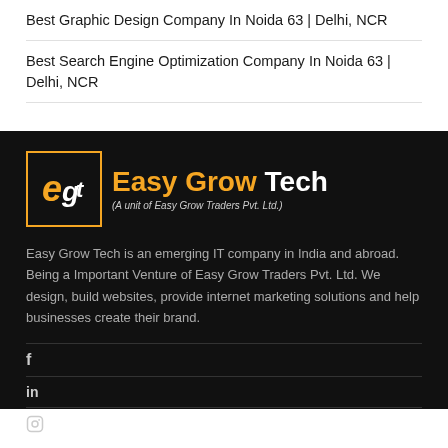Best Graphic Design Company In Noida 63 | Delhi, NCR
Best Search Engine Optimization Company In Noida 63 | Delhi, NCR
[Figure (logo): Easy Grow Tech logo with orange and white text on black background, with a stylized 'egt' monogram in a gold-bordered box. Subtitle: (A unit of Easy Grow Traders Pvt. Ltd.)]
Easy Grow Tech is an emerging IT company in India and abroad. Being a Important Venture of Easy Grow Traders Pvt. Ltd. We design, build websites, provide internet marketing solutions and help businesses create their brand.
f
in
Instagram icon